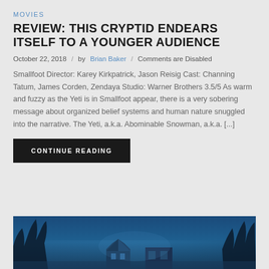MOVIES
REVIEW: THIS CRYPTID ENDEARS ITSELF TO A YOUNGER AUDIENCE
October 22, 2018  /  by Brian Baker  /  Comments are Disabled
Smallfoot Director: Karey Kirkpatrick, Jason Reisig Cast: Channing Tatum, James Corden, Zendaya Studio: Warner Brothers 3.5/5 As warm and fuzzy as the Yeti is in Smallfoot appear, there is a very sobering message about organized belief systems and human nature snuggled into the narrative. The Yeti, a.k.a. Abominable Snowman, a.k.a. [...]
CONTINUE READING
[Figure (photo): Dark blue-toned atmospheric image of a building or structure with trees in a misty night scene]